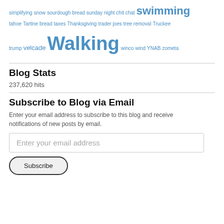simplifying snow sourdough bread sunday night chit chat swimming tahoe Tartine bread taxes Thanksgiving trader joes tree removal Truckee trump velcade Walking winco wind YNAB zometa
Blog Stats
237,620 hits
Subscribe to Blog via Email
Enter your email address to subscribe to this blog and receive notifications of new posts by email.